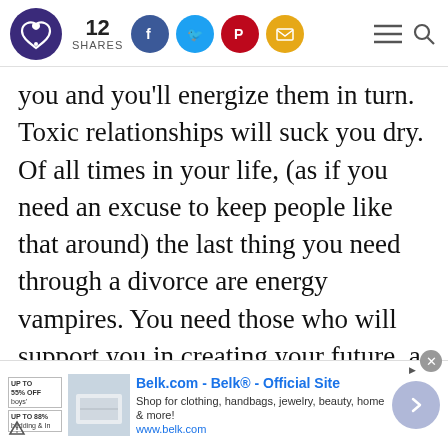12 SHARES [social icons: Facebook, Twitter, Pinterest, Email] [hamburger menu] [search]
you and you'll energize them in turn. Toxic relationships will suck you dry. Of all times in your life, (as if you need an excuse to keep people like that around) the last thing you need through a divorce are energy vampires. You need those who will support you in creating your future, a future you love and build, not one you fall into.
7. Exploit your virtual environments, not just
Belk.com - Belk® - Official Site
Shop for clothing, handbags, jewelry, beauty, home & more!
www.belk.com